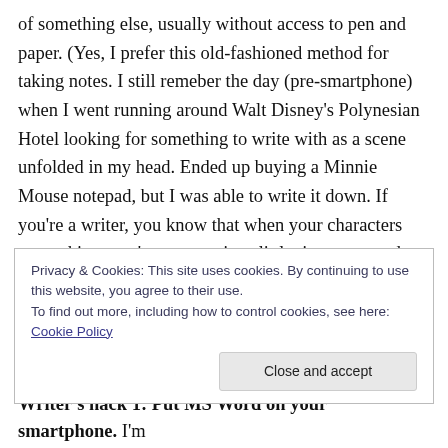of something else, usually without access to pen and paper. (Yes, I prefer this old-fashioned method for taking notes. I still remeber the day (pre-smartphone) when I went running around Walt Disney's Polynesian Hotel looking for something to write with as a scene unfolded in my head. Ended up buying a Minnie Mouse notepad, but I was able to write it down. If you're a writer, you know that when your characters start taking, you've got precious little time to record what they are doing.)
This month, I'm blogging on writing tools, and I've decided
Privacy & Cookies: This site uses cookies. By continuing to use this website, you agree to their use.
To find out more, including how to control cookies, see here: Cookie Policy
Close and accept
Writer's hack 1: Put MS Word on your smartphone. I'm